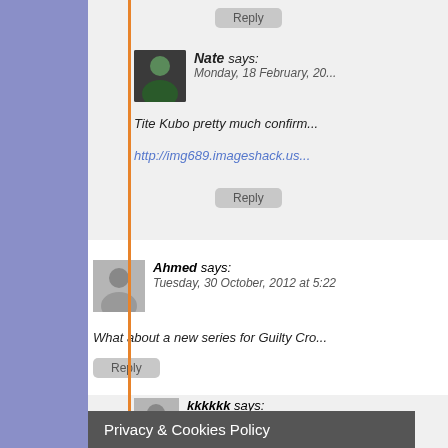Reply
Nate says: Monday, 18 February, 20...
Tite Kubo pretty much confirm...
http://img689.imageshack.us...
Reply
Ahmed says: Tuesday, 30 October, 2012 at 5:22
What about a new series for Guilty Cro...
Reply
kkkkkk says: Tuesday, 30 October, 2012 at...
Guilty Crown? It's ended. Accel World? SAO will probably g... favor SAO's ongoing novels over... Highschool of the dead? Very like... situation first beforehand.
Reply
mous2.0 says:
Privacy & Cookies Policy